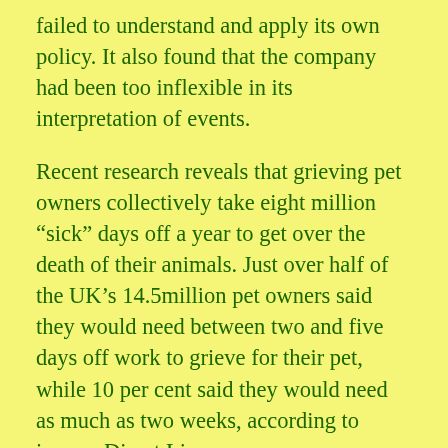failed to understand and apply its own policy. It also found that the company had been too inflexible in its interpretation of events.
Recent research reveals that grieving pet owners collectively take eight million “sick” days off a year to get over the death of their animals. Just over half of the UK’s 14.5million pet owners said they would need between two and five days off work to grieve for their pet, while 10 per cent said they would need as much as two weeks, according to insurer Direct Line.
Only one in five pet owners thought they would need more time off work to come to terms with the loss of a family member or close friend.